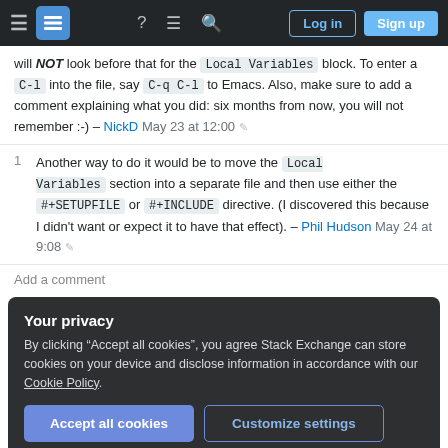Stack Exchange navigation bar with Log in and Sign up buttons
will NOT look before that for the Local Variables block. To enter a C-l into the file, say C-q C-l to Emacs. Also, make sure to add a comment explaining what you did: six months from now, you will not remember :-) – NickD May 23 at 12:00
1 Another way to do it would be to move the Local Variables section into a separate file and then use either the #+SETUPFILE or #+INCLUDE directive. (I discovered this because I didn't want or expect it to have that effect). – Phil Hudson May 24 at 9:08
Add a comment
Your privacy
By clicking “Accept all cookies”, you agree Stack Exchange can store cookies on your device and disclose information in accordance with our Cookie Policy.
Accept all cookies | Customize settings